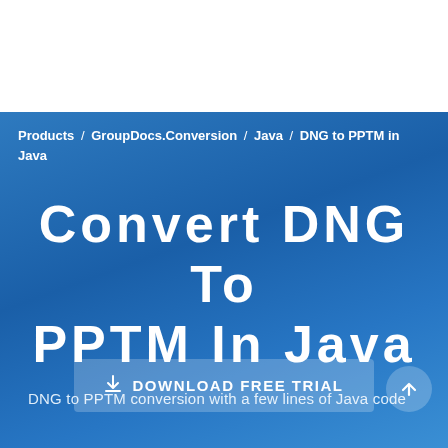Products / GroupDocs.Conversion / Java / DNG to PPTM in Java
Convert DNG To PPTM In Java
DNG to PPTM conversion with a few lines of Java code
↓ DOWNLOAD FREE TRIAL